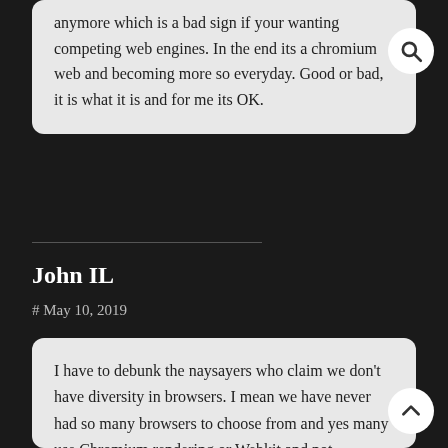anymore which is a bad sign if your wanting competing web engines. In the end its a chromium web and becoming more so everyday. Good or bad, it is what it is and for me its OK.
John IL
# May 10, 2019
I have to debunk the naysayers who claim we don't have diversity in browsers. I mean we have never had so many browsers to choose from and yes many use Chromium rendering or Webkit and not Quantum. But beyond that distinction all of these browsers have a variety of features and customization. Besides who's to say Edge Chromium will fair any better then any other Chrome clone? The problem won't be Microsoft moving to Chromium engine, the problem still is Google Chrome itself dominates